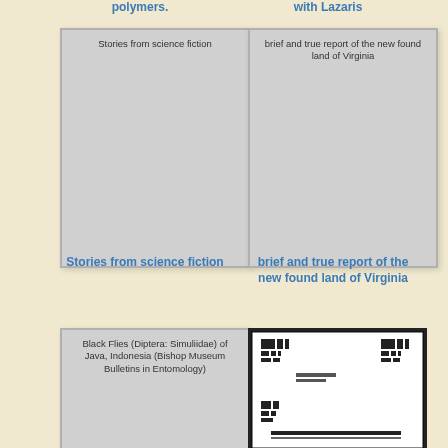polymers.
with Lazaris
[Figure (illustration): Book cover placeholder card showing title: Stories from science fiction]
[Figure (illustration): Book cover placeholder card showing title: brief and true report of the new found land of Virginia]
Stories from science fiction
brief and true report of the new found land of Virginia
[Figure (illustration): Book cover placeholder card showing title: Black Flies (Diptera: Simuliidae) of Java, Indonesia (Bishop Museum Bulletins in Entomology)]
[Figure (photo): Photo of a document page showing image evaluation test target patterns]